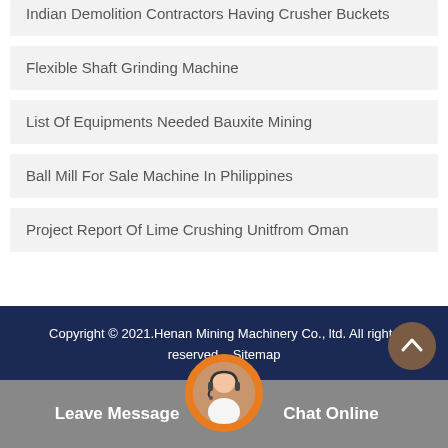Indian Demolition Contractors Having Crusher Buckets
Flexible Shaft Grinding Machine
List Of Equipments Needed Bauxite Mining
Ball Mill For Sale Machine In Philippines
Project Report Of Lime Crushing Unitfrom Oman
Copyright © 2021.Henan Mining Machinery Co., ltd. All rights reserved.   Sitemap
Leave Message
Chat Online